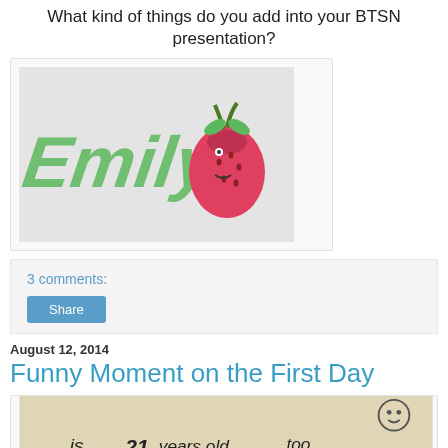What kind of things do you add into your BTSN presentation?
[Figure (illustration): A decorative image showing the name 'Emily' written in green stylized font alongside a cute illustrated strawberry character on a light gray background, inside a white card.]
3 comments:
Share
August 12, 2014
Funny Moment on the First Day
[Figure (photo): A handwritten note on paper reading '... is 2 years old too...' with hand-drawn cartoon characters above.]